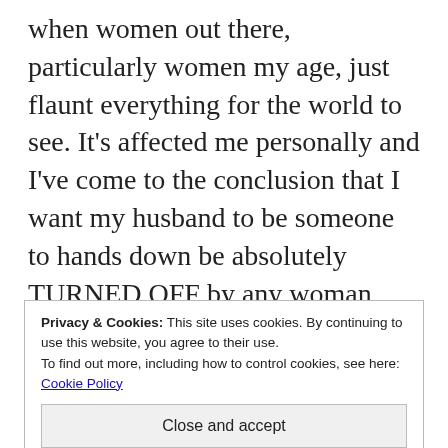when women out there, particularly women my age, just flaunt everything for the world to see. It's affected me personally and I've come to the conclusion that I want my husband to be someone to hands down be absolutely TURNED OFF by any woman who just flaunts it! I do believe that if every single woman practiced modesty, the world
Privacy & Cookies: This site uses cookies. By continuing to use this website, you agree to their use.
To find out more, including how to control cookies, see here: Cookie Policy
Close and accept
advances. Men will say they like